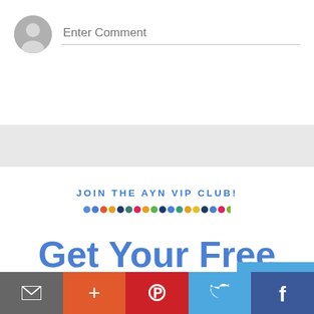[Figure (screenshot): Comment input area with gray avatar circle and 'Enter Comment' placeholder text with underline]
[Figure (infographic): Promotional banner: 'JOIN THE AYN VIP CLUB!' heading with colorful dots row, and large blue text 'Get Your Free Game Here!']
[Figure (infographic): Bottom social share bar with email (gray), plus (orange), Pinterest (red), Twitter (blue), Facebook (dark blue) buttons]